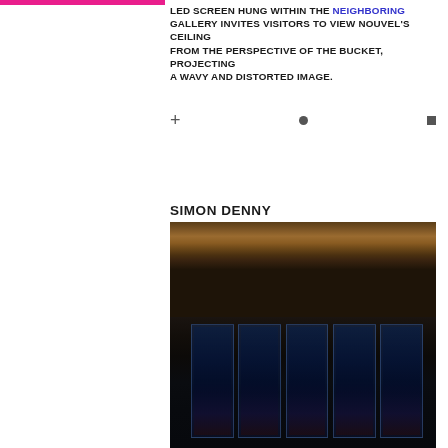LED SCREEN HUNG WITHIN THE NEIGHBORING GALLERY INVITES VISITORS TO VIEW NOUVEL'S CEILING FROM THE PERSPECTIVE OF THE BUCKET, PROJECTING A WAVY AND DISTORTED IMAGE.
SIMON DENNY
[Figure (photo): Interior of an ornate gallery room with dark, gilded baroque ceiling and paintings. In the lower portion, illuminated glass display cases or kiosks showing various digital screens with colorful imagery including blue orbs and figurative scenes. The room has dramatic curtains and sculptural figures in niches.]